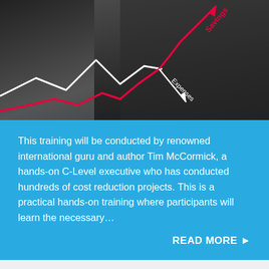[Figure (photo): A person in a dark suit gesturing at a chart showing a red upward arrow labeled 'Savings' and a white downward arrow labeled 'Expenses' against a dark background.]
This training will be conducted by renowned international guru and author Tim McCormick, a hands-on C-Level executive who has conducted hundreds of cost reduction projects. This is a practical hands-on training where participants will learn the necessary…
READ MORE ▶